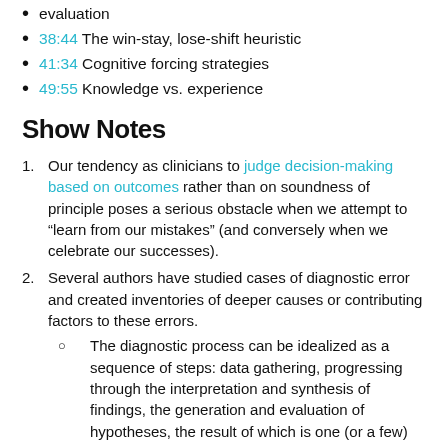evaluation
38:44 The win-stay, lose-shift heuristic
41:34 Cognitive forcing strategies
49:55 Knowledge vs. experience
Show Notes
1. Our tendency as clinicians to judge decision-making based on outcomes rather than on soundness of principle poses a serious obstacle when we attempt to “learn from our mistakes” (and conversely when we celebrate our successes).
2. Several authors have studied cases of diagnostic error and created inventories of deeper causes or contributing factors to these errors.
The diagnostic process can be idealized as a sequence of steps: data gathering, progressing through the interpretation and synthesis of findings, the generation and evaluation of hypotheses, the result of which is one (or a few)